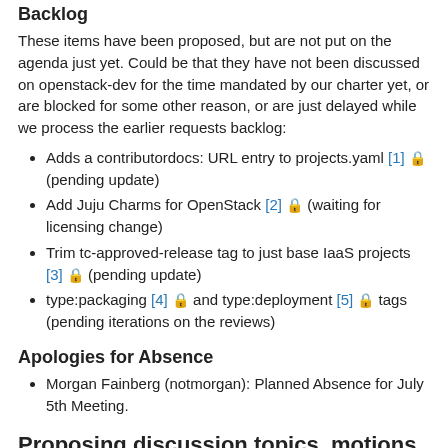Backlog
These items have been proposed, but are not put on the agenda just yet. Could be that they have not been discussed on openstack-dev for the time mandated by our charter yet, or are blocked for some other reason, or are just delayed while we process the earlier requests backlog:
Adds a contributordocs: URL entry to projects.yaml [1] 🔒 (pending update)
Add Juju Charms for OpenStack [2] 🔒 (waiting for licensing change)
Trim tc-approved-release tag to just base IaaS projects [3] 🔒 (pending update)
type:packaging [4] 🔒 and type:deployment [5] 🔒 tags (pending iterations on the reviews)
Apologies for Absence
Morgan Fainberg (notmorgan): Planned Absence for July 5th Meeting.
Proposing discussion topics, motions